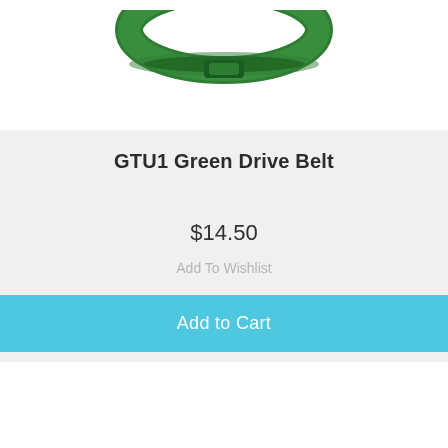[Figure (photo): Green drive belt (O-ring shaped) on white background, partially visible at top of page]
GTU1 Green Drive Belt
$14.50
Add To Wishlist
Add to Cart
[Figure (photo): Circular metal disc/washer with center hole, silver-gray color, on white background]